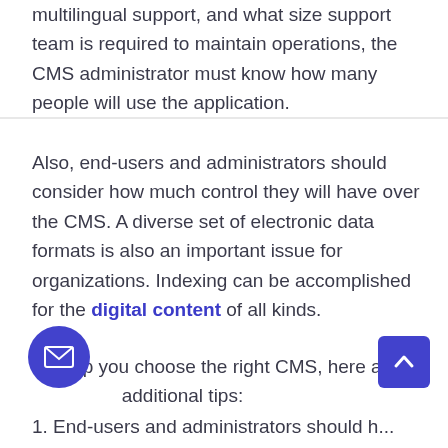multilingual support, and what size support team is required to maintain operations, the CMS administrator must know how many people will use the application.
Also, end-users and administrators should consider how much control they will have over the CMS. A diverse set of electronic data formats is also an important issue for organizations. Indexing can be accomplished for the digital content of all kinds.
To help you choose the right CMS, here are additional tips:
1. End-users and administrators should ...